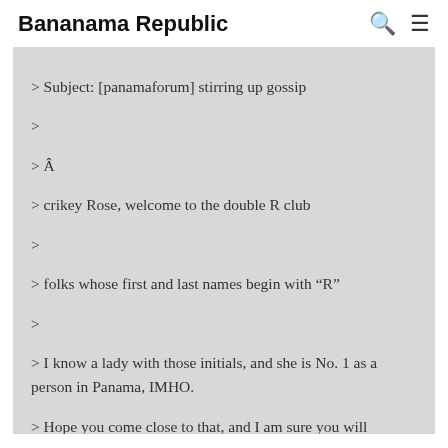Bananama Republic
> Subject: [panamaforum] stirring up gossip
>
> Â
> crikey Rose, welcome to the double R club
>
> folks whose first and last names begin with “R”
>
> I know a lady with those initials, and she is No. 1 as a person in Panama, IMHO.
> Hope you come close to that, and I am sure you will
>
> well fair dinkum, I bet my Panama